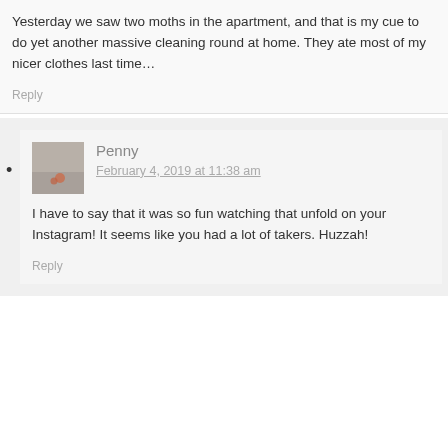Yesterday we saw two moths in the apartment, and that is my cue to do yet another massive cleaning round at home. They ate most of my nicer clothes last time…
Reply
Penny
February 4, 2019 at 11:38 am
I have to say that it was so fun watching that unfold on your Instagram! It seems like you had a lot of takers. Huzzah!
Reply